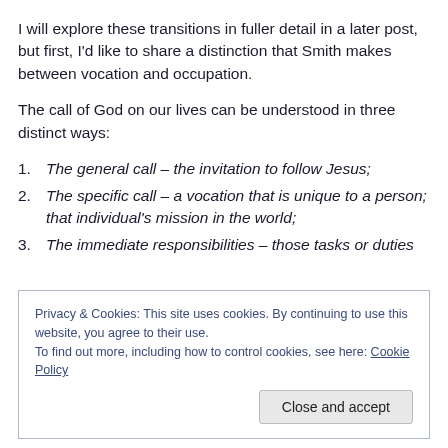I will explore these transitions in fuller detail in a later post, but first, I'd like to share a distinction that Smith makes between vocation and occupation.
The call of God on our lives can be understood in three distinct ways:
The general call – the invitation to follow Jesus;
The specific call – a vocation that is unique to a person; that individual's mission in the world;
The immediate responsibilities – those tasks or duties
Privacy & Cookies: This site uses cookies. By continuing to use this website, you agree to their use.
To find out more, including how to control cookies, see here: Cookie Policy
but something that nevertheless speaks of our